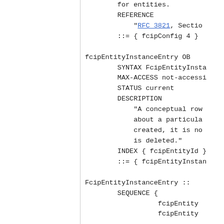for entities.
    REFERENCE
        "RFC 3821, Sectio
    ::= { fcipConfig 4 }

fcipEntityInstanceEntry OB
    SYNTAX FcipEntityInsta
    MAX-ACCESS not-accessi
    STATUS current
    DESCRIPTION
        "A conceptual row
        about a particula
        created, it is no
        is deleted."
    INDEX { fcipEntityId }
    ::= { fcipEntityInstan

FcipEntityInstanceEntry ::
    SEQUENCE {
              fcipEntity
              fcipEntity